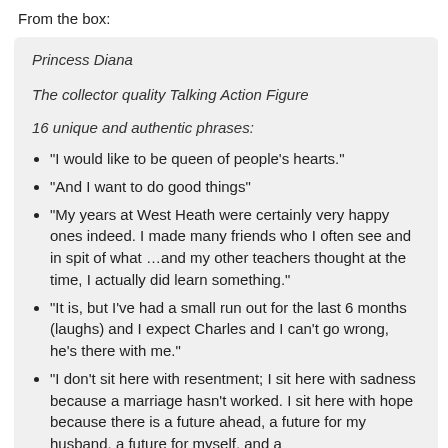From the box:
Princess Diana
The collector quality Talking Action Figure
16 unique and authentic phrases:
“I would like to be queen of people’s hearts.”
“And I want to do good things”
“My years at West Heath were certainly very happy ones indeed. I made many friends who I often see and in spit of what …and my other teachers thought at the time, I actually did learn something.”
“It is, but I’ve had a small run out for the last 6 months (laughs) and I expect Charles and I can’t go wrong, he’s there with me.”
“I don’t sit here with resentment; I sit here with sadness because a marriage hasn’t worked. I sit here with hope because there is a future ahead, a future for my husband, a future for myself, and a